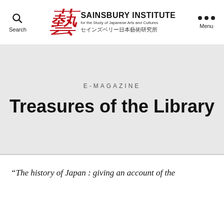[Figure (logo): Sainsbury Institute for the Study of Japanese Arts and Cultures logo with red kanji character and English/Japanese text]
E-MAGAZINE
Treasures of the Library
“The history of Japan : giving an account of the